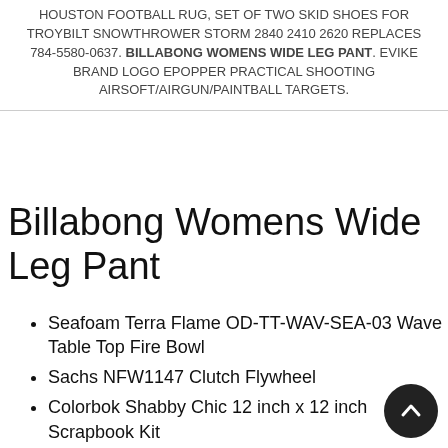HOUSTON FOOTBALL RUG, SET OF TWO SKID SHOES FOR TROYBILT SNOWTHROWER STORM 2840 2410 2620 REPLACES 784-5580-0637. BILLABONG WOMENS WIDE LEG PANT. EVIKE BRAND LOGO EPOPPER PRACTICAL SHOOTING AIRSOFT/AIRGUN/PAINTBALL TARGETS.
Billabong Womens Wide Leg Pant
Seafoam Terra Flame OD-TT-WAV-SEA-03 Wave Table Top Fire Bowl
Sachs NFW1147 Clutch Flywheel
Colorbok Shabby Chic 12 inch x 12 inch Scrapbook Kit
A-SAFETY 360° High Visibility Work Wear Long Sleeve